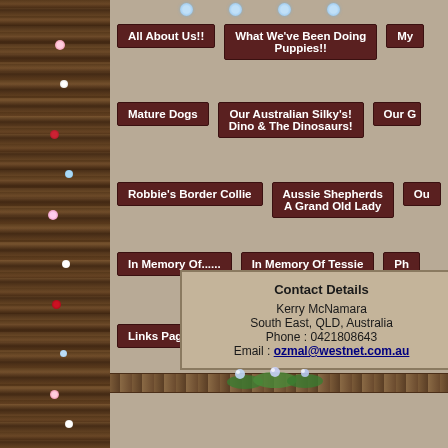[Figure (illustration): Left decorative column with wicker/rattan texture and small flowers (pink, white, red, blue) on vines]
All About Us!!
What We've Been Doing Puppies!!
My [cut off]
Mature Dogs
Our Australian Silky's!
Our G[cut off] Dino & The Dinosaurs!
Robbie's Border Collie
Aussie Shepherds
Ou[cut off] A Grand Old Lady
In Memory Of......
In Memory Of Tessie RESCUE DOGS
Ph[cut off]
Links Page
Guest Book
Please Conta[cut off]
Contact Details
Kerry McNamara
South East, QLD, Australia
Phone : 0421808643
Email : ozmal@westnet.com.au
[Figure (illustration): Bottom decorative stone/pebble bar with green vine and blue/purple flowers overlay]